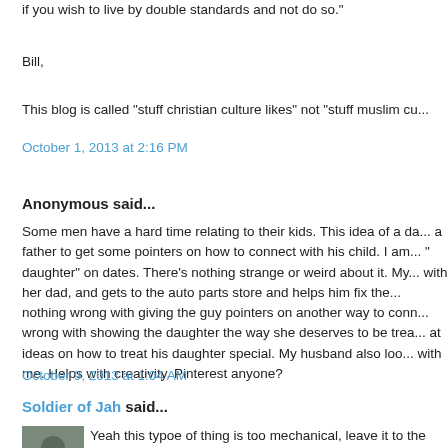if you wish to live by double standards and not do so."
Bill,
This blog is called "stuff christian culture likes" not "stuff muslim cu...
October 1, 2013 at 2:16 PM
Anonymous said...
Some men have a hard time relating to their kids. This idea of a da... a father to get some pointers on how to connect with his child. I am... " daughter" on dates. There's nothing strange or weird about it. My... with her dad, and gets to the auto parts store and helps him fix the... nothing wrong with giving the guy pointers on another way to conn... wrong with showing the daughter the way she deserves to be trea... at ideas on how to treat his daughter special. My husband also loo... with me. Helps with creativity. Pinterest anyone?
October 9, 2013 at 1:04 AM
Soldier of Jah said...
[Figure (photo): Small avatar photo of a person outdoors near trees]
Yeah this typoe of thing is too mechanical, leave it to the Intstituio... a decent idea into a formalized creepy chore. On it's own, not a ba... details are where the creepiness comes in. Like the no making eye... else, are you kidding me? My daughters would think that somethin...